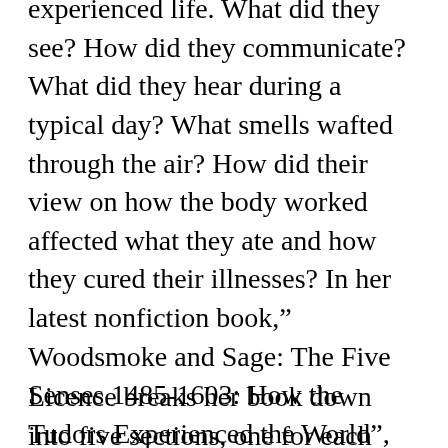experienced life. What did they see? How did they communicate? What did they hear during a typical day? What smells wafted through the air? How did their view on how the body worked affected what they ate and how they cured their illnesses? In her latest nonfiction book,” Woodsmoke and Sage: The Five Senses 1485-1603: How the Tudors Experienced the World”, Amy Licence has taken on the challenge of explaining the Tudor world that they knew through their senses.
Licence breaks her book down into five sections, one for each sense. We begin with